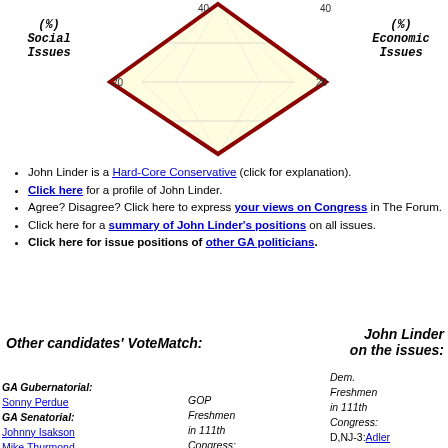[Figure (radar-chart): Diamond-shaped radar/VoteMatch chart with dark red border lines forming a diamond shape on a cream/yellow grid background. Social Issues label on left, Economic Issues label on right. Axis numbers 0, 20, 40 shown.]
John Linder is a Hard-Core Conservative (click for explanation).
Click here for a profile of John Linder.
Agree? Disagree? Click here to express your views on Congress in The Forum.
Click here for a summary of John Linder's positions on all issues.
Click here for issue positions of other GA politicians.
Other candidates' VoteMatch:
John Linder on the issues:
GA Gubernatorial:
Sonny Perdue
GA Senatorial:
Johnny Isakson
Mike Thurmond
Saxby Chambliss
Special elections in 111th Congress:
GA-9:Deal(R)
Jun.2010:Graves(R)
GOP Freshmen in 111th Congress:
R,OH-7:Austria
R,OH-16:Boccieri
R,LA-2:Cao
R,LA-6:Cassidy
R,UT-3:Chaffetz
Dem. Freshmen in 111th Congress:
D,NJ-3:Adler
D,AL-2:Bright
D,VA-11:Connolly
D,PA-3:Dahlkemper
D,OH-1:Driehaus
D,OH-11:Fudge
D,FL-8:Grayson
D,AL-5:Griffith
D,IL-11:Halvorson
Abortion
Budget/Economy
Civil Rights
Corporations
Crime
Drugs
Education
Energy/Oil